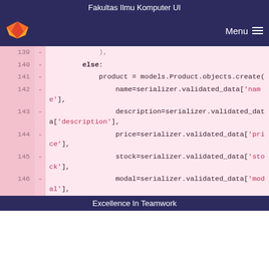Fakultas Ilmu Komputer UI
[Figure (screenshot): GitLab navigation bar with fox logo and Menu button on dark purple background]
Code diff view showing lines 139-146 of a Python file with models.Product.objects.create() call including fields: name, description, price, stock, modal from serializer.validated_data
Excellence In Teamwork